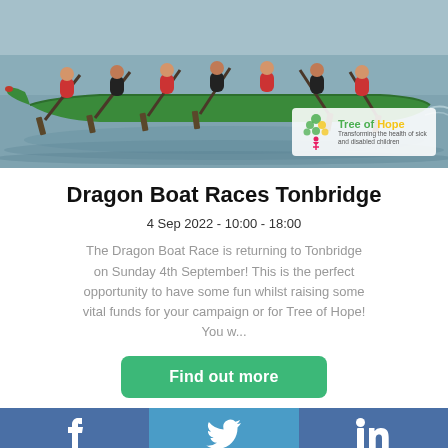[Figure (photo): Dragon boat race photo showing multiple people paddling a green dragon boat on water, with Tree of Hope charity logo overlay in the bottom right corner]
Dragon Boat Races Tonbridge
4 Sep 2022 - 10:00 - 18:00
The Dragon Boat Race is returning to Tonbridge on Sunday 4th September! This is the perfect opportunity to have some fun whilst raising some vital funds for your campaign or for Tree of Hope! You w...
Find out more
f  [Twitter bird icon]  in